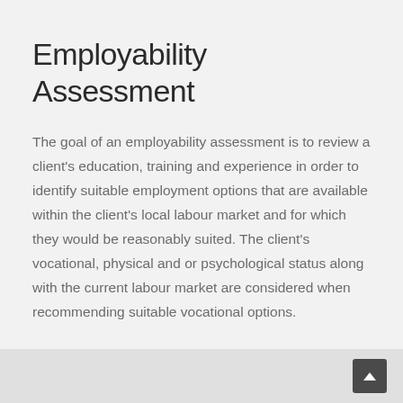Employability Assessment
The goal of an employability assessment is to review a client's education, training and experience in order to identify suitable employment options that are available within the client's local labour market and for which they would be reasonably suited. The client's vocational, physical and or psychological status along with the current labour market are considered when recommending suitable vocational options.